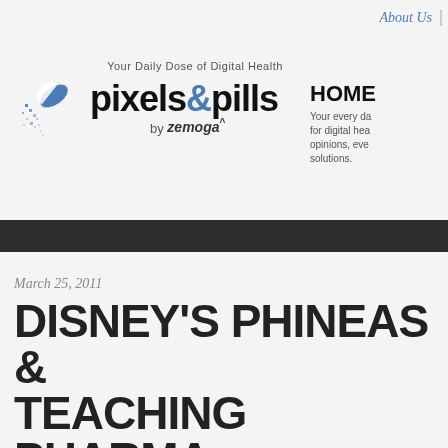[Figure (logo): Pixels & Pills logo with pill capsule icon, tagline 'Your Daily Dose of Digital Health', and 'by zemoga' text]
About Us
HOME
Your every da for digital hea opinions, eve solutions.
March 25, 2011
DISNEY'S PHINEAS & TEACHING PHARMA FAITH & FEARLESSN
Posted by admin